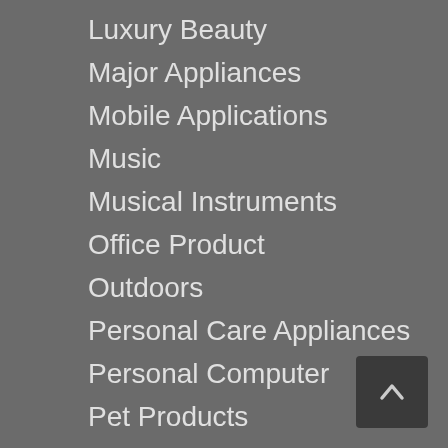Luxury Beauty
Major Appliances
Mobile Applications
Music
Musical Instruments
Office Product
Outdoors
Personal Care Appliances
Personal Computer
Pet Products
Pump Accessories
Reviews
Shoes
Softlines Private Label
Software